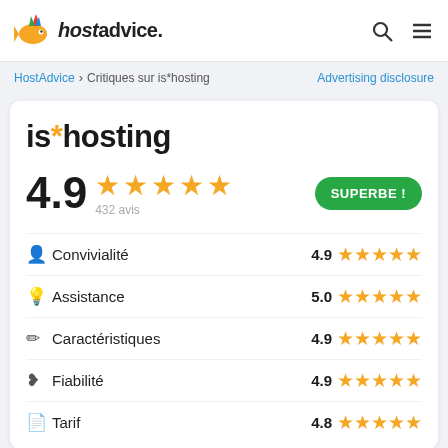hostadvice. [search icon] [menu icon]
HostAdvice > Critiques sur is*hosting   Advertising disclosure
is*hosting
4.9 ★★★★★ 432 avis   SUPERBE !
| Catégorie | Score | Étoiles |
| --- | --- | --- |
| Convivialité | 4.9 | ★★★★★ |
| Assistance | 5.0 | ★★★★★ |
| Caractéristiques | 4.9 | ★★★★★ |
| Fiabilité | 4.9 | ★★★★★ |
| Tarif | 4.8 | ★★★★★ |